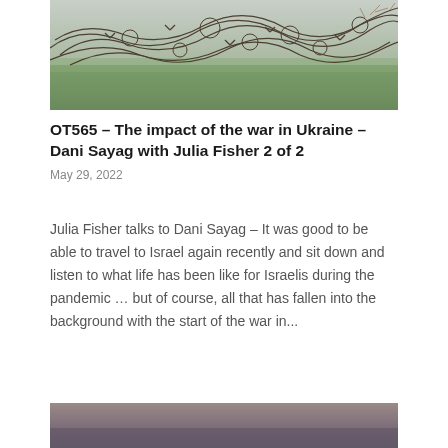[Figure (photo): Photo of barbed wire in a field, with dry tangled wire coils against a blurred green landscape background.]
OT565 – The impact of the war in Ukraine – Dani Sayag with Julia Fisher 2 of 2
May 29, 2022
Julia Fisher talks to Dani Sayag – It was good to be able to travel to Israel again recently and sit down and listen to what life has been like for Israelis during the pandemic … but of course, all that has fallen into the background with the start of the war in...
[Figure (photo): Partial photo visible at the bottom of the page, showing a blurred landscape with muted colors.]